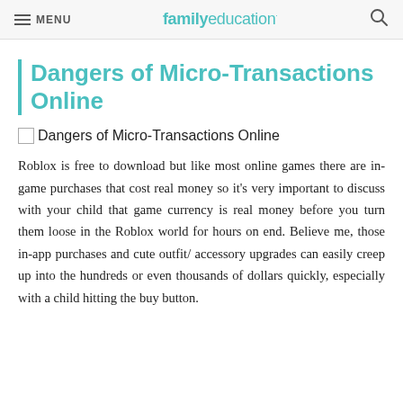MENU | familyeducation
Dangers of Micro-Transactions Online
Dangers of Micro-Transactions Online
Roblox is free to download but like most online games there are in-game purchases that cost real money so it's very important to discuss with your child that game currency is real money before you turn them loose in the Roblox world for hours on end. Believe me, those in-app purchases and cute outfit/ accessory upgrades can easily creep up into the hundreds or even thousands of dollars quickly, especially with a child hitting the buy button.